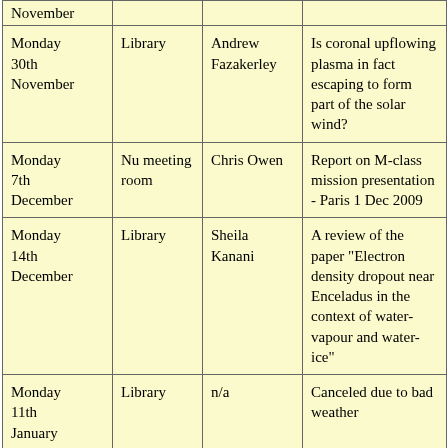| Date | Location | Speaker | Topic |
| --- | --- | --- | --- |
| November |  |  |  |
| Monday 30th November | Library | Andrew Fazakerley | Is coronal upflowing plasma in fact escaping to form part of the solar wind? |
| Monday 7th December | Nu meeting room | Chris Owen | Report on M-class mission presentation - Paris 1 Dec 2009 |
| Monday 14th December | Library | Sheila Kanani | A review of the paper "Electron density dropout near Enceladus in the context of water-vapour and water-ice" |
| Monday 11th January | Library | n/a | Canceled due to bad weather |
| Monday 18th January | Library | Chuan Li | Solar cosmic rays and neutron monitors |
| Thursday 28th | Nu meeting | n/a | discussion/news/PDRA |